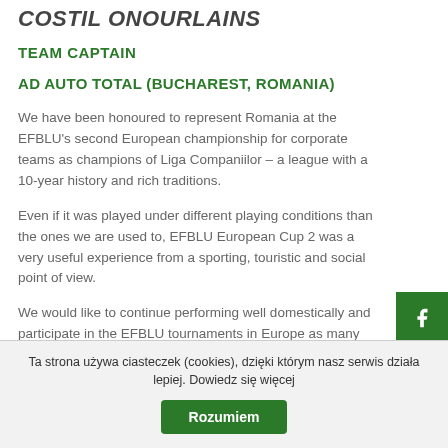COSTIL ONOURLAINS
TEAM CAPTAIN
AD AUTO TOTAL (BUCHAREST, ROMANIA)
We have been honoured to represent Romania at the EFBLU's second European championship for corporate teams as champions of Liga Companiilor – a league with a 10-year history and rich traditions.
Even if it was played under different playing conditions than the ones we are used to, EFBLU European Cup 2 was a very useful experience from a sporting, touristic and social point of view.
We would like to continue performing well domestically and participate in the EFBLU tournaments in Europe as many times as possible.
[Figure (other): Facebook, YouTube, LinkedIn social media icon buttons on green background on right side of page]
Ta strona używa ciasteczek (cookies), dzięki którym nasz serwis działa lepiej. Dowiedz się więcej
Rozumiem